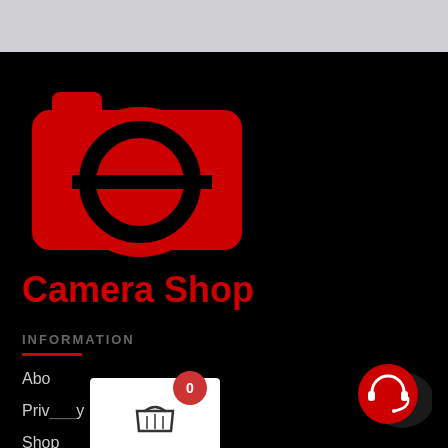[Figure (logo): Camera Shop logo: red camera body silhouette with a large black circle containing the letter G shape, styled as a camera lens. Brand name 'Camera Shop' in bold red text below.]
INFORMATION
Abo...
Priv...y
Shop
[Figure (infographic): Shopping cart popup overlay with white background, basket icon, and red badge showing '0' item count.]
[Figure (infographic): Red circular support/chat button at bottom right with headset icon.]